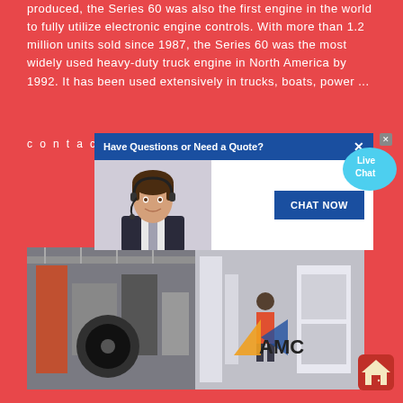produced, the Series 60 was also the first engine in the world to fully utilize electronic engine controls. With more than 1.2 million units sold since 1987, the Series 60 was the most widely used heavy-duty truck engine in North America by 1992. It has been used extensively in trucks, boats, power ...
contac
[Figure (screenshot): Chat popup overlay with header 'Have Questions or Need a Quote?', close button X, image of woman with headset, and 'CHAT NOW' blue button]
[Figure (photo): Factory/industrial machinery images: left side showing manufacturing equipment, right side showing AMC branded industrial equipment with worker]
[Figure (illustration): Live Chat speech bubble icon in cyan/blue with text 'Live Chat' and close X button]
[Figure (illustration): House/home icon in red at bottom right corner]